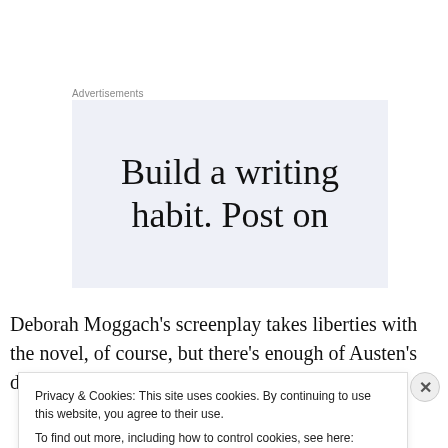Advertisements
[Figure (screenshot): Advertisement banner with light blue-grey background showing text 'Build a writing habit. Post on']
Deborah Moggach's screenplay takes liberties with the novel, of course, but there's enough of Austen's dialogue
Privacy & Cookies: This site uses cookies. By continuing to use this website, you agree to their use.
To find out more, including how to control cookies, see here: Cookie Policy
Close and accept